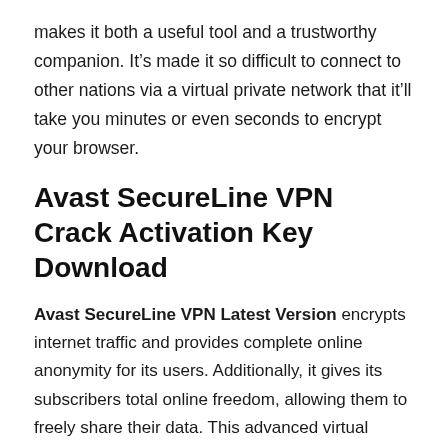makes it both a useful tool and a trustworthy companion. It's made it so difficult to connect to other nations via a virtual private network that it'll take you minutes or even seconds to encrypt your browser.
Avast SecureLine VPN Crack Activation Key Download
Avast SecureLine VPN Latest Version encrypts internet traffic and provides complete online anonymity for its users. Additionally, it gives its subscribers total online freedom, allowing them to freely share their data. This advanced virtual private secureline VPN allows you to remain anonymous over public networks. Changing your Geo-locations and hiding your IP address are both